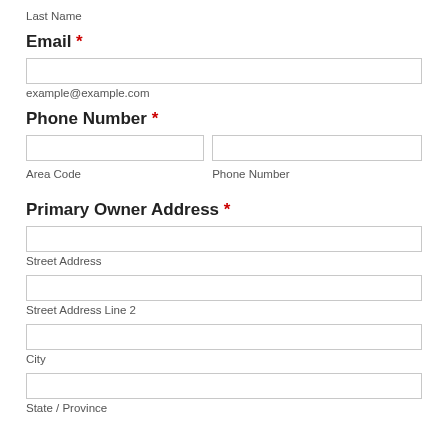Last Name
Email *
example@example.com
Phone Number *
Area Code
Phone Number
Primary Owner Address *
Street Address
Street Address Line 2
City
State / Province